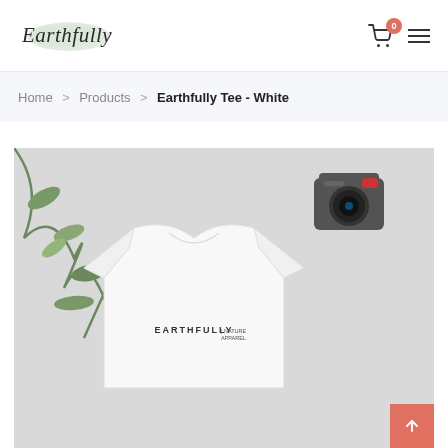Earthfully — navigation header with logo, cart (0 items), and hamburger menu
Home > Products > Earthfully Tee - White
[Figure (photo): Product photo of a white Earthfully t-shirt with 'EARTHFULLY | NATURE APPAREL' printed on the chest, laid flat on a grey surface alongside green foliage and a vintage camera]